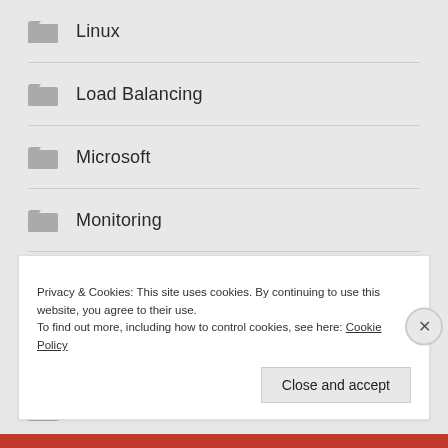Linux
Load Balancing
Microsoft
Monitoring
NAT and Firewalling
Network Automation
Network Fundamentals
Privacy & Cookies: This site uses cookies. By continuing to use this website, you agree to their use.
To find out more, including how to control cookies, see here: Cookie Policy
Close and accept